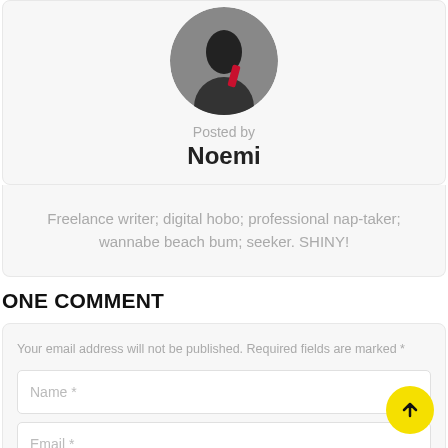[Figure (photo): Circular avatar photo of author Noemi, showing a person in dark clothing against a grey background]
Posted by
Noemi
Freelance writer; digital hobo; professional nap-taker; wannabe beach bum; seeker. SHINY!
ONE COMMENT
Your email address will not be published. Required fields are marked *
Name *
Email *